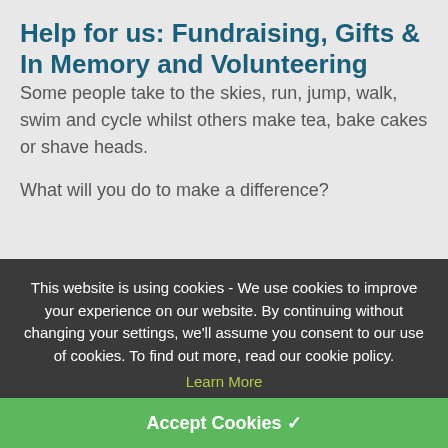Help for us: Fundraising, Gifts & In Memory and Volunteering
Some people take to the skies, run, jump, walk, swim and cycle whilst others make tea, bake cakes or shave heads.
What will you do to make a difference?
[Figure (illustration): Facebook, Twitter, and Instagram social media icons on the right side of the page]
This website is using cookies - We use cookies to improve your experience on our website. By continuing without changing your settings, we'll assume you consent to our use of cookies. To find out more, read our cookie policy.
Learn More
Accept Cookies ✓